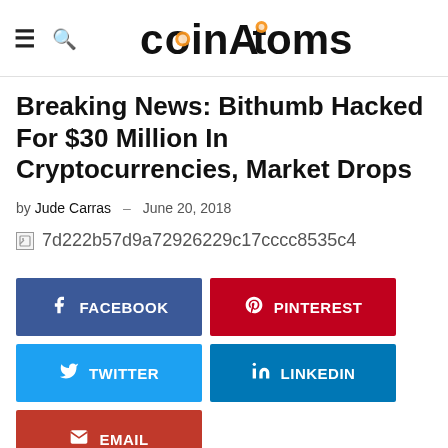coinAtoms
Breaking News: Bithumb Hacked For $30 Million In Cryptocurrencies, Market Drops
by Jude Carras · June 20, 2018
[Figure (other): Broken image placeholder with filename 7d222b57d9a72926229c17cccc8535c4]
[Figure (infographic): Social share buttons: Facebook, Pinterest, Twitter, LinkedIn, Email]